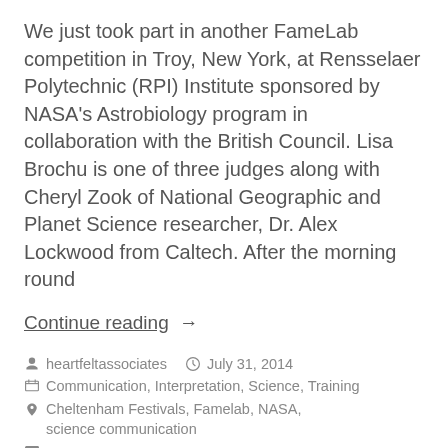We just took part in another FameLab competition in Troy, New York, at Rensselaer Polytechnic (RPI) Institute sponsored by NASA's Astrobiology program in collaboration with the British Council. Lisa Brochu is one of three judges along with Cheryl Zook of National Geographic and Planet Science researcher, Dr. Alex Lockwood from Caltech. After the morning round
Continue reading  →
heartfeltassociates   July 31, 2014
Communication, Interpretation, Science, Training
Cheltenham Festivals, Famelab, NASA, science communication
1 Comment